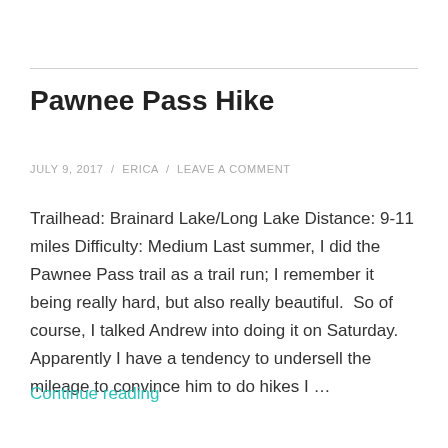Pawnee Pass Hike
JULY 9, 2017  /  ERICA  /  LEAVE A COMMENT
Trailhead: Brainard Lake/Long Lake Distance: 9-11 miles Difficulty: Medium Last summer, I did the Pawnee Pass trail as a trail run; I remember it being really hard, but also really beautiful.  So of course, I talked Andrew into doing it on Saturday.  Apparently I have a tendency to undersell the mileage to convince him to do hikes I …
Continue reading